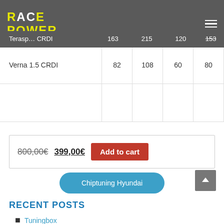[Figure (logo): Race Power logo with yellow text on dark grey header background]
|  |  | 163 | 215 | 120 | 153 |
| --- | --- | --- | --- | --- | --- |
| Verna 1.5 CRDI | 82 | 108 | 60 | 80 |
|  |  |  |  |  |
800,00€ 399,00€ Add to cart
Chiptuning Hyundai
RECENT POSTS
Tuningbox